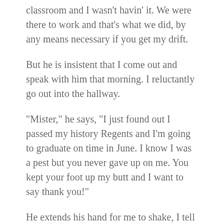classroom and I wasn't havin' it. We were there to work and that's what we did, by any means necessary if you get my drift.
But he is insistent that I come out and speak with him that morning. I reluctantly go out into the hallway.
“Mister,” he says, “I just found out I passed my history Regents and I’m going to graduate on time in June. I know I was a pest but you never gave up on me. You kept your foot up my butt and I want to say thank you!”
He extends his hand for me to shake, I tell him congratulations – and “get to class”. All the while I’m thinking to myself, chalk one more up for “The Grizzly Bear”. You see, I have two sides to my teaching personality. Let’s call them The Grizzly Bear and The Teddy Bear.